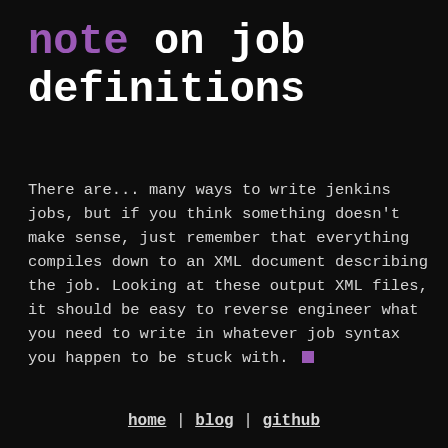note on job definitions
There are... many ways to write jenkins jobs, but if you think something doesn't make sense, just remember that everything compiles down to an XML document describing the job. Looking at these output XML files, it should be easy to reverse engineer what you need to write in whatever job syntax you happen to be stuck with.
home | blog | github